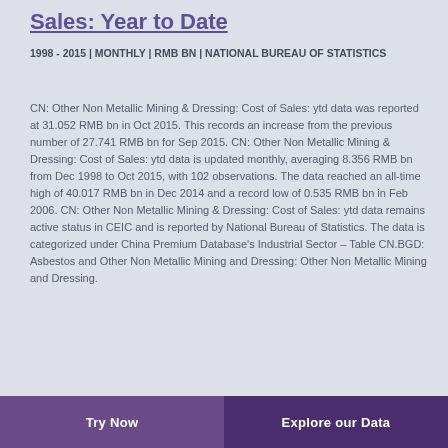Sales: Year to Date
1998 - 2015 | MONTHLY | RMB BN | NATIONAL BUREAU OF STATISTICS
CN: Other Non Metallic Mining & Dressing: Cost of Sales: ytd data was reported at 31.052 RMB bn in Oct 2015. This records an increase from the previous number of 27.741 RMB bn for Sep 2015. CN: Other Non Metallic Mining & Dressing: Cost of Sales: ytd data is updated monthly, averaging 8.356 RMB bn from Dec 1998 to Oct 2015, with 102 observations. The data reached an all-time high of 40.017 RMB bn in Dec 2014 and a record low of 0.535 RMB bn in Feb 2006. CN: Other Non Metallic Mining & Dressing: Cost of Sales: ytd data remains active status in CEIC and is reported by National Bureau of Statistics. The data is categorized under China Premium Database's Industrial Sector – Table CN.BGD: Asbestos and Other Non Metallic Mining and Dressing: Other Non Metallic Mining and Dressing.
Try Now | Explore our Data